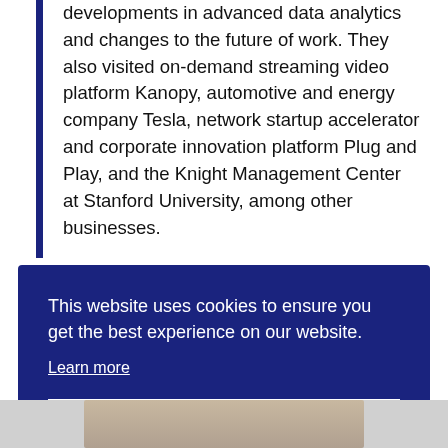developments in advanced data analytics and changes to the future of work. They also visited on-demand streaming video platform Kanopy, automotive and energy company Tesla, network startup accelerator and corporate innovation platform Plug and Play, and the Knight Management Center at Stanford University, among other businesses.
This website uses cookies to ensure you get the best experience on our website.
Learn more
Got it!
[Figure (photo): Partial view of a person's face/head at the bottom of the page]